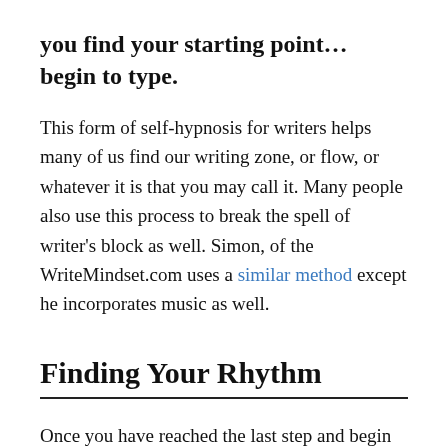you find your starting point… begin to type.
This form of self-hypnosis for writers helps many of us find our writing zone, or flow, or whatever it is that you may call it. Many people also use this process to break the spell of writer's block as well. Simon, of the WriteMindset.com uses a similar method except he incorporates music as well.
Finding Your Rhythm
Once you have reached the last step and begin to write, the words seem to flow from your mind and your body is completely relaxed. You form